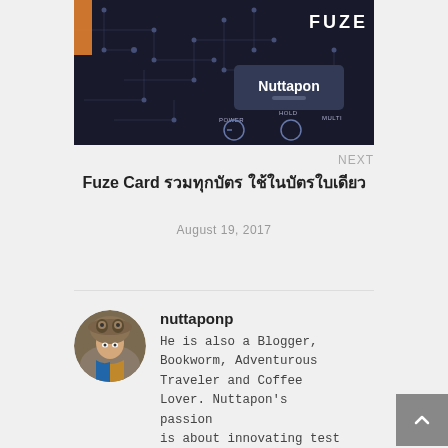[Figure (photo): Close-up photo of a dark Fuze Card with circuit-board pattern, showing 'FUZE' text, a name 'Nuttapon' on a key, and buttons labeled POWER, HOLD, MULTI]
NEXT
Fuze Card รวมทุกบัตร ใช้ในบัตรใบเดียว
August 19, 2017
[Figure (photo): Circular avatar photo of a person wearing a fur hat with ornate decorations, outdoors.]
nuttaponp
He is also a Blogger, Bookworm, Adventurous Traveler and Coffee Lover. Nuttapon's passion is about innovating test engineering.